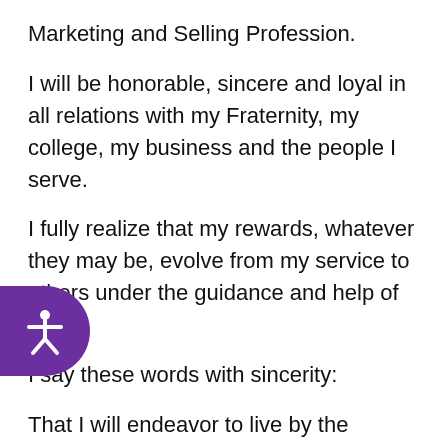Marketing and Selling Profession.
I will be honorable, sincere and loyal in all relations with my Fraternity, my college, my business and the people I serve.
I fully realize that my rewards, whatever they may be, evolve from my service to others under the guidance and help of God.
I say these words with sincerity:
That I will endeavor to live by the principles of Pi Sigma Epsilon;
That I value and revere the honor of our fellowship;
That I will endeavor to so build myself and so